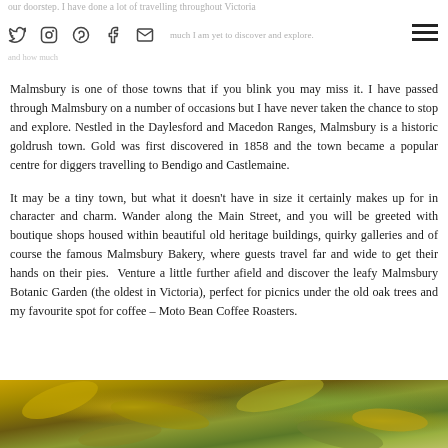our doorstep. I have done a lot of travelling throughout Victoria [icons row] cer b he s much I am yet to discover and explore. [menu icon] [faded text at bottom of header]
Malmsbury is one of those towns that if you blink you may miss it. I have passed through Malmsbury on a number of occasions but I have never taken the chance to stop and explore. Nestled in the Daylesford and Macedon Ranges, Malmsbury is a historic goldrush town. Gold was first discovered in 1858 and the town became a popular centre for diggers travelling to Bendigo and Castlemaine.
It may be a tiny town, but what it doesn't have in size it certainly makes up for in character and charm. Wander along the Main Street, and you will be greeted with boutique shops housed within beautiful old heritage buildings, quirky galleries and of course the famous Malmsbury Bakery, where guests travel far and wide to get their hands on their pies.  Venture a little further afield and discover the leafy Malmsbury Botanic Garden (the oldest in Victoria), perfect for picnics under the old oak trees and my favourite spot for coffee – Moto Bean Coffee Roasters.
[Figure (photo): Close-up photo of autumn leaves, golden-yellow and green, with bokeh background – partial view at bottom of page]